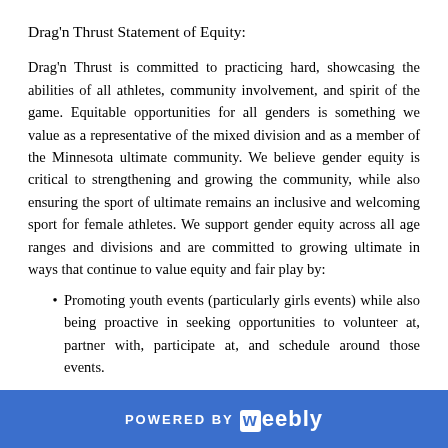Drag'n Thrust Statement of Equity:
Drag'n Thrust is committed to practicing hard, showcasing the abilities of all athletes, community involvement, and spirit of the game. Equitable opportunities for all genders is something we value as a representative of the mixed division and as a member of the Minnesota ultimate community. We believe gender equity is critical to strengthening and growing the community, while also ensuring the sport of ultimate remains an inclusive and welcoming sport for female athletes. We support gender equity across all age ranges and divisions and are committed to growing ultimate in ways that continue to value equity and fair play by:
Promoting youth events (particularly girls events) while also being proactive in seeking opportunities to volunteer at, partner with, participate at, and schedule around those events.
POWERED BY weebly